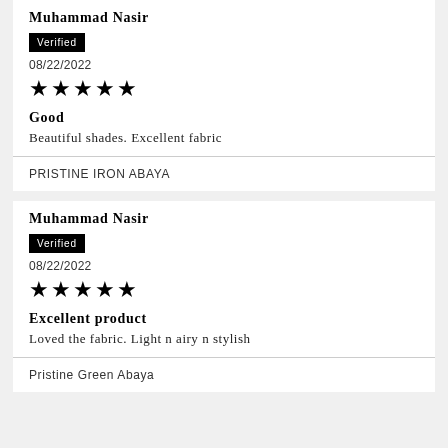Muhammad Nasir
Verified
08/22/2022
★★★★★
Good
Beautiful shades. Excellent fabric
PRISTINE IRON ABAYA
Muhammad Nasir
Verified
08/22/2022
★★★★★
Excellent product
Loved the fabric. Light n airy n stylish
Pristine Green Abaya